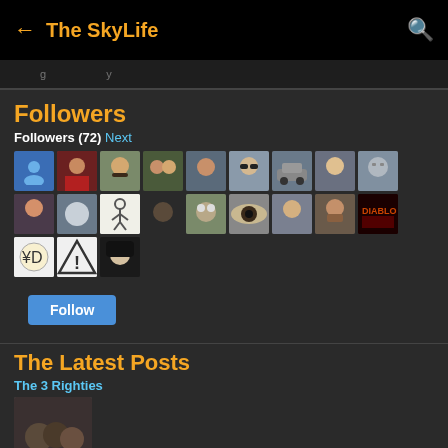← The SkyLife 🔍
Followers
Followers (72) Next
[Figure (other): Grid of 21 follower profile avatars/thumbnails in two rows plus one extra]
Follow
The Latest Posts
The 3 Righties
[Figure (photo): Thumbnail image for The 3 Righties post showing a group photo]